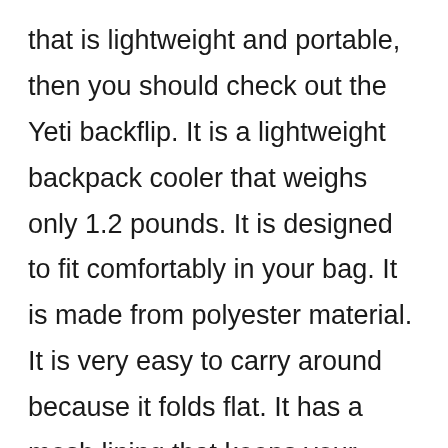that is lightweight and portable, then you should check out the Yeti backflip. It is a lightweight backpack cooler that weighs only 1.2 pounds. It is designed to fit comfortably in your bag. It is made from polyester material. It is very easy to carry around because it folds flat. It has a mesh lining that keeps your drinks cold. It has a capacity to hold 12 cans or bottles. It is ideal for camping trips and